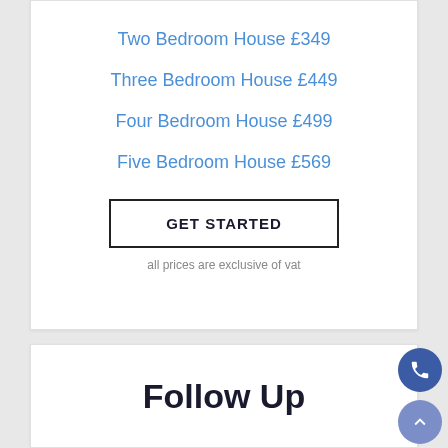Two Bedroom House £349
Three Bedroom House £449
Four Bedroom House £499
Five Bedroom House £569
GET STARTED
all prices are exclusive of vat
Follow Up